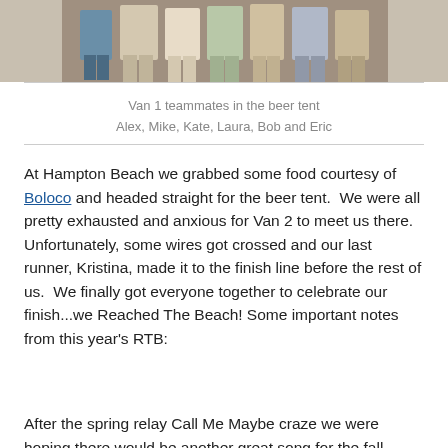[Figure (photo): Cropped bottom portion of a group photo showing people standing, visible from waist down, in a beer tent setting.]
Van 1 teammates in the beer tent
Alex, Mike, Kate, Laura, Bob and Eric
At Hampton Beach we grabbed some food courtesy of Boloco and headed straight for the beer tent.  We were all pretty exhausted and anxious for Van 2 to meet us there.  Unfortunately, some wires got crossed and our last runner, Kristina, made it to the finish line before the rest of us.  We finally got everyone together to celebrate our finish...we Reached The Beach! Some important notes from this year's RTB:
After the spring relay Call Me Maybe craze we were hoping there would be another great song for the fall,